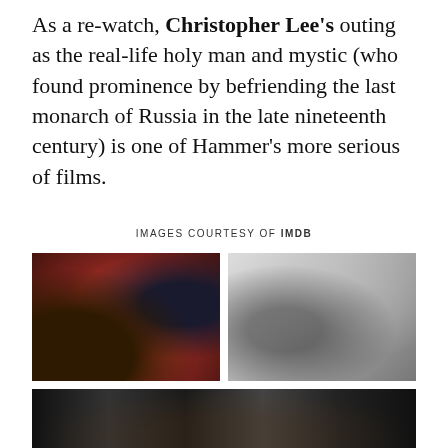As a re-watch, Christopher Lee's outing as the real-life holy man and mystic (who found prominence by befriending the last monarch of Russia in the late nineteenth century) is one of Hammer's more serious of films.
IMAGES COURTESY OF IMDB
[Figure (photo): Color film still showing a man in a red robe with arms outstretched in a dimly lit room]
[Figure (photo): Black and white film still showing a group of people, with a man kneeling and a woman in a white blouse standing]
[Figure (photo): Dark film still showing a dimly lit interior scene]